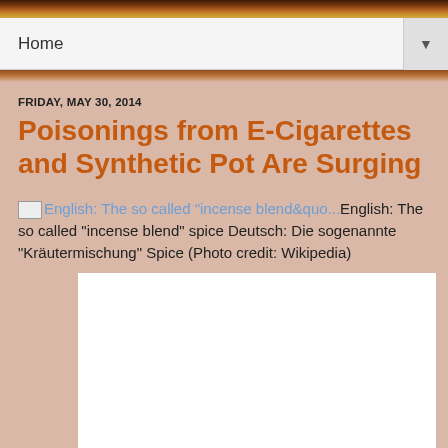Home
FRIDAY, MAY 30, 2014
Poisonings from E-Cigarettes and Synthetic Pot Are Surging
English: The so called "incense blend&quo...English: The so called "incense blend" spice Deutsch: Die sogenannte "Kräutermischung" Spice (Photo credit: Wikipedia)
[Figure (photo): White image placeholder area below the caption block]